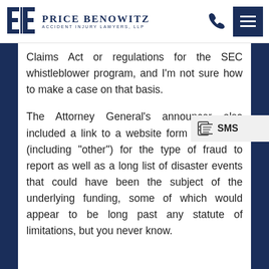Price Benowitz Accident Injury Lawyers, LLP
Claims Act or regulations for the SEC whistleblower program, and I'm not sure how to make a case on that basis.
The Attorney General's announcement also included a link to a website form 26 options (including “other”) for the type of fraud to report as well as a long list of disaster events that could have been the subject of the underlying funding, some of which would appear to be long past any statute of limitations, but you never know.